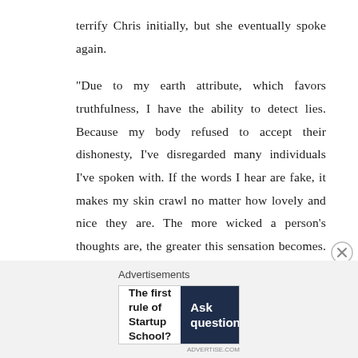terrify Chris initially, but she eventually spoke again.
“Due to my earth attribute, which favors truthfulness, I have the ability to detect lies. Because my body refused to accept their dishonesty, I've disregarded many individuals I've spoken with. If the words I hear are fake, it makes my skin crawl no matter how lovely and nice they are. The more wicked a person's thoughts are, the greater this sensation becomes. And I had the same nasty feeling earlier when Kamil said he would take good care of
[Figure (other): Advertisement banner: left side white background with bold text 'The first rule of Startup School?', right side dark navy background with 'Ask questions.' in white bold text, WordPress logo circle, and another small circular logo. Close button (circled X) at top right.]